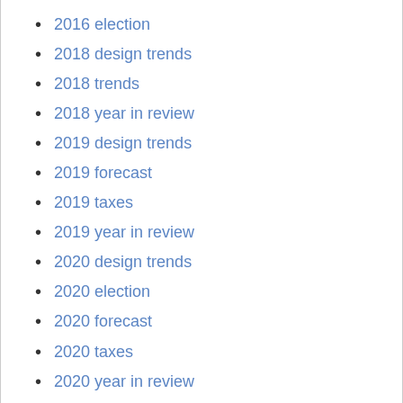2016 election
2018 design trends
2018 trends
2018 year in review
2019 design trends
2019 forecast
2019 taxes
2019 year in review
2020 design trends
2020 election
2020 forecast
2020 taxes
2020 year in review
2021 design trends
2021 forecast
2021 year ahead
2021 year in review
2022 design trends
2022 forecast